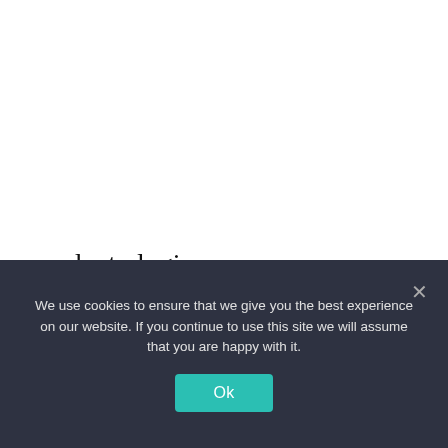modento login
youngliving login
We use cookies to ensure that we give you the best experience on our website. If you continue to use this site we will assume that you are happy with it.